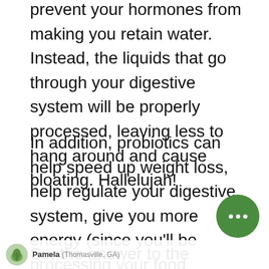prevent your hormones from making you retain water. Instead, the liquids that go through your digestive system will be properly processed, leaving less to hang around and cause bloating. Hallelujah!
In addition, probiotics can help speed up weight loss, help regulate your digestive system, give you more energy (since you'll be processing your food better), and boost your immune system. It's amazing what your digestive system can do once it's in proper balance.
So, the answer to the bloating mystery is actually quite simple. Just say YES to
[Figure (other): Green circular chat button with three dots (ellipsis) in white, positioned at bottom right of page]
Pamela (Thomasville, GA)